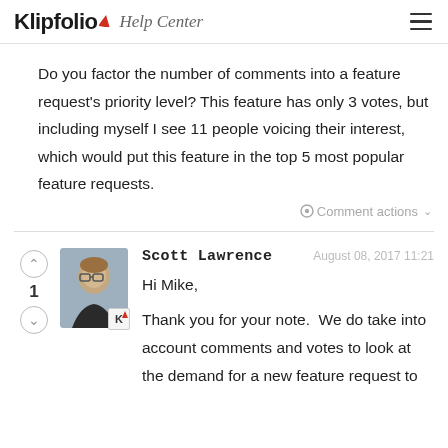Klipfolio Help Center
Do you factor the number of comments into a feature request's priority level? This feature has only 3 votes, but including myself I see 11 people voicing their interest, which would put this feature in the top 5 most popular feature requests.
Comment actions
Scott Lawrence
August 08, 2017 11:21
1
Hi Mike,
Thank you for your note.  We do take into account comments and votes to look at the demand for a new feature request to...